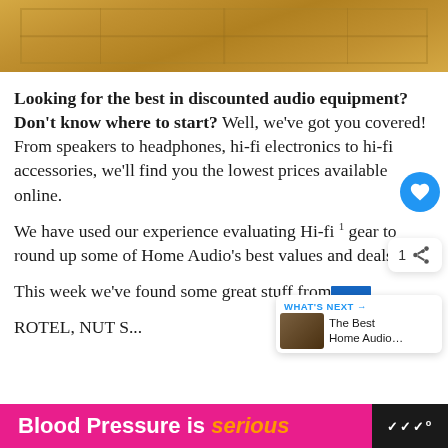[Figure (photo): Top portion of a wooden panel or door with decorative cross/diamond pattern, warm yellow-brown tones]
Looking for the best in discounted audio equipment? Don't know where to start? Well, we've got you covered! From speakers to headphones, hi-fi electronics to hi-fi accessories, we'll find you the lowest prices available online.
We have used our experience evaluating Hi-fi gear to round up some of Home Audio's best values and deals.
This week we've found some great stuff from [redacted] ROTEL, NUT S...
[Figure (infographic): Blood Pressure is serious - advertisement banner at bottom of page]
Blood Pressure is serious